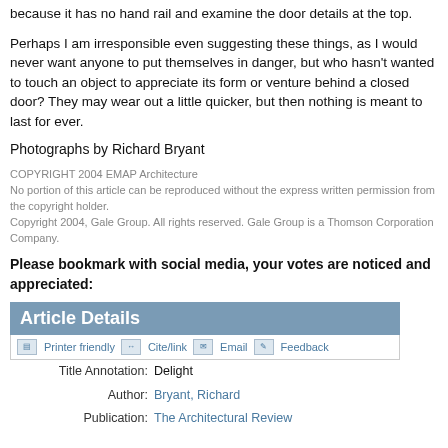because it has no hand rail and examine the door details at the top.
Perhaps I am irresponsible even suggesting these things, as I would never want anyone to put themselves in danger, but who hasn't wanted to touch an object to appreciate its form or venture behind a closed door? They may wear out a little quicker, but then nothing is meant to last for ever.
Photographs by Richard Bryant
COPYRIGHT 2004 EMAP Architecture
No portion of this article can be reproduced without the express written permission from the copyright holder.
Copyright 2004, Gale Group. All rights reserved. Gale Group is a Thomson Corporation Company.
Please bookmark with social media, your votes are noticed and appreciated:
Article Details
| Field | Value |
| --- | --- |
| Title Annotation: | Delight |
| Author: | Bryant, Richard |
| Publication: | The Architectural Review |